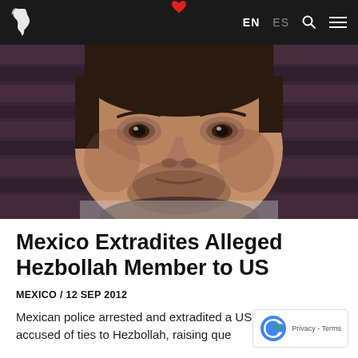EN ES [navigation bar with logo, language switcher, search, menu]
[Figure (photo): Close-up photo of a dark-haired man with stubble facial hair, looking downward, against a striped blurred background]
Mexico Extradites Alleged Hezbollah Member to US
MEXICO / 12 SEP 2012
Mexican police arrested and extradited a US citizen who has been accused of ties to Hezbollah, raising que…